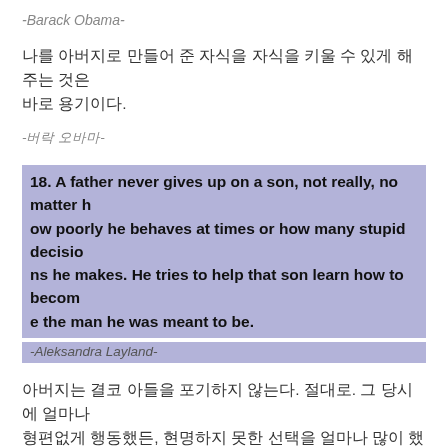-Barack Obama-
나를 아버지로 만들어 준 자식을 자식을 키울 수 있게 해 주는 것은 바로 용기이다.
-버락 오바마-
18. A father never gives up on a son, not really, no matter how poorly he behaves at times or how many stupid decisions he makes. He tries to help that son learn how to become the man he was meant to be.
-Aleksandra Layland-
아버지는 결코 아들을 포기하지 않는다. 절대로. 그 당시에 얼마나 형편없게 행동했든, 현명하지 못한 선택을 얼마나 많이 했든 관계없이, 아버지는 자신이 되려고 했던 사람이 되는 법을 아들에게 가르치기 위해 노력한다.
-알렉산드라 레이랜드-